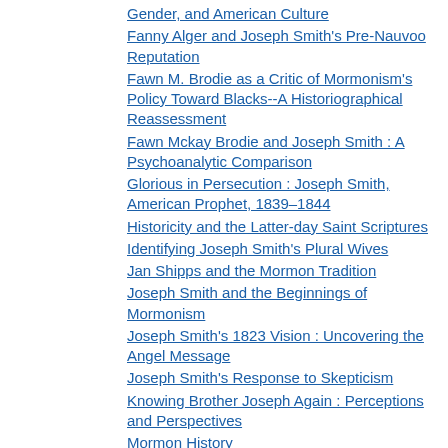Gender, and American Culture
Fanny Alger and Joseph Smith's Pre-Nauvoo Reputation
Fawn M. Brodie as a Critic of Mormonism's Policy Toward Blacks--A Historiographical Reassessment
Fawn Mckay Brodie and Joseph Smith : A Psychoanalytic Comparison
Glorious in Persecution : Joseph Smith, American Prophet, 1839–1844
Historicity and the Latter-day Saint Scriptures
Identifying Joseph Smith's Plural Wives
Jan Shipps and the Mormon Tradition
Joseph Smith and the Beginnings of Mormonism
Joseph Smith's 1823 Vision : Uncovering the Angel Message
Joseph Smith's Response to Skepticism
Knowing Brother Joseph Again : Perceptions and Perspectives
Mormon History